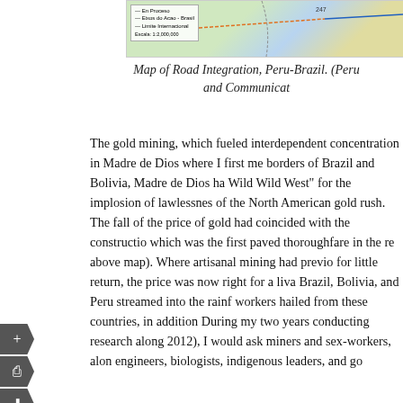[Figure (map): Partial view of a map showing road integration between Peru and Brazil, with a legend indicating road status (En Proceso, Eixos do Acao - Brasil, Limite Internacional) and scale.]
Map of Road Integration, Peru-Brazil. (Peru and Communications...
The gold mining, which fueled interdependent concentration in Madre de Dios where I first me borders of Brazil and Bolivia, Madre de Dios ha Wild Wild West" for the implosion of lawlessnes of the North American gold rush. The fall of the price of gold had coincided with the constructio which was the first paved thoroughfare in the re above map). Where artisanal mining had previo for little return, the price was now right for a liva Brazil, Bolivia, and Peru streamed into the rainf workers hailed from these countries, in addition During my two years conducting research along 2012), I would ask miners and sex-workers, alon engineers, biologists, indigenous leaders, and go